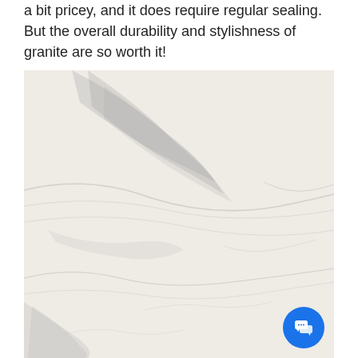a bit pricey, and it does require regular sealing. But the overall durability and stylishness of granite are so worth it!
[Figure (photo): Close-up photograph of a white marble or granite surface with grey veining patterns running diagonally across the stone.]